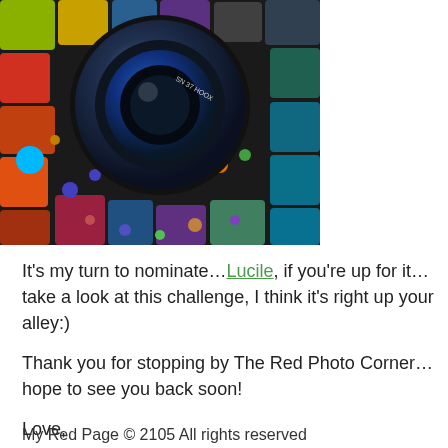[Figure (photo): A colorful abstract mosaic background with a camera lens in the center, featuring vibrant multicolored tiles and bokeh dots surrounding the lens.]
It's my turn to nominate…Lucile, if you're up for it…take a look at this challenge, I think it's right up your alley:)
Thank you for stopping by The Red Photo Corner…hope to see you back soon!
Love,
Julia
xxx
My Red Page © 2105 All rights reserved